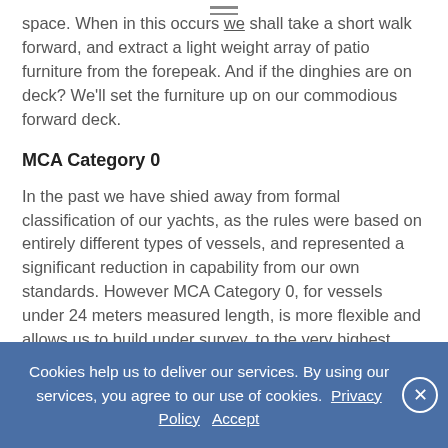space. When in this occurs we shall take a short walk forward, and extract a light weight array of patio furniture from the forepeak. And if the dinghies are on deck? We'll set the furniture up on our commodious forward deck.
MCA Category 0
In the past we have shied away from formal classification of our yachts, as the rules were based on entirely different types of vessels, and represented a significant reduction in capability from our own standards. However MCA Category 0, for vessels under 24 meters measured length, is more flexible and allows us to build under survey, to the very highest standard, without compromising our design or systems in any fashion. The process is time consuming and costly, but compensates by offering both us and our clients substantial benefits, also ensuring quality and resale value.
Cookies help us to deliver our services. By using our services, you agree to our use of cookies. Privacy Policy   Accept